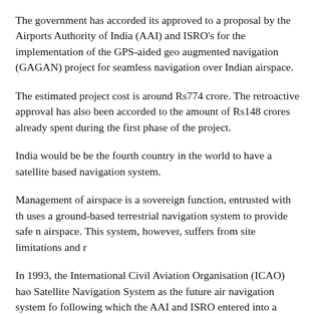The government has accorded its approved to a proposal by the Airports Authority of India (AAI) and ISRO's for the implementation of the GPS-aided geo augmented navigation (GAGAN) project for seamless navigation over Indian airspace.
The estimated project cost is around Rs774 crore. The retroactive approval has also been accorded to the amount of Rs148 crores already spent during the first phase of the project.
India would be be the fourth country in the world to have a satellite based navigation system.
Management of airspace is a sovereign function, entrusted with th uses a ground-based terrestrial navigation system to provide safe airspace. This system, however, suffers from site limitations and r
In 1993, the International Civil Aviation Organisation (ICAO) hao Satellite Navigation System as the future air navigation system fo following which the AAI and ISRO entered into a memorandum o for the implementation of the GAGAN project for seamless navig airspace.